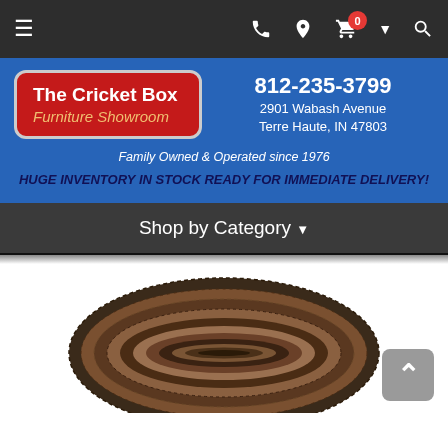Navigation bar with hamburger menu, phone icon, location icon, cart with badge 0, dropdown arrow, and search icon
[Figure (logo): The Cricket Box Furniture Showroom logo — red rounded rectangle with white bold text 'The Cricket Box' and italic yellow-orange text 'Furniture Showroom']
812-235-3799
2901 Wabash Avenue
Terre Haute, IN 47803
Family Owned & Operated since 1976
HUGE INVENTORY IN STOCK READY FOR IMMEDIATE DELIVERY!
Shop by Category ▾
[Figure (photo): Oval braided rug with concentric oval rings in brown, tan, rust, and dark colors, photographed from above on white background]